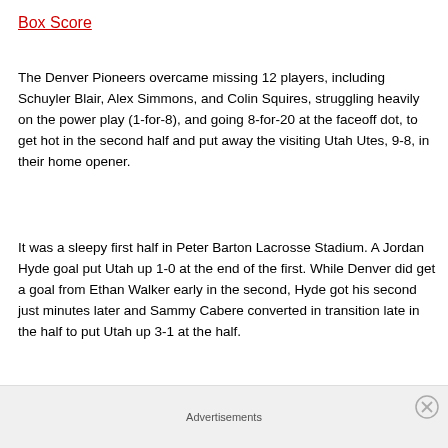Box Score
The Denver Pioneers overcame missing 12 players, including Schuyler Blair, Alex Simmons, and Colin Squires, struggling heavily on the power play (1-for-8), and going 8-for-20 at the faceoff dot, to get hot in the second half and put away the visiting Utah Utes, 9-8, in their home opener.
It was a sleepy first half in Peter Barton Lacrosse Stadium. A Jordan Hyde goal put Utah up 1-0 at the end of the first. While Denver did get a goal from Ethan Walker early in the second, Hyde got his second just minutes later and Sammy Cabere converted in transition late in the half to put Utah up 3-1 at the half.
Advertisements